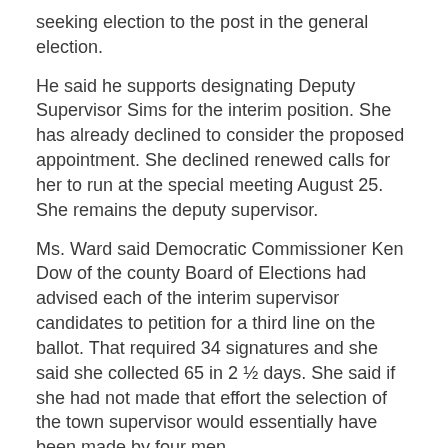seeking election to the post in the general election.
He said he supports designating Deputy Supervisor Sims for the interim position. She has already declined to consider the proposed appointment. She declined renewed calls for her to run at the special meeting August 25. She remains the deputy supervisor.
Ms. Ward said Democratic Commissioner Ken Dow of the county Board of Elections had advised each of the interim supervisor candidates to petition for a third line on the ballot. That required 34 signatures and she said she collected 65 in 2 ½ days. She said if she had not made that effort the selection of the town supervisor would essentially have been made by four men.
The Republican Party is not fielding a candidate for town supervisor.
Mr. Kersten said Covid-19 lockdown restrictions imposed by Governor Cuomo, especially the ban on mass gatherings, influenced the process that resulted in his nomination by the HDC.
He said recommendations by Commissioner Dow and the